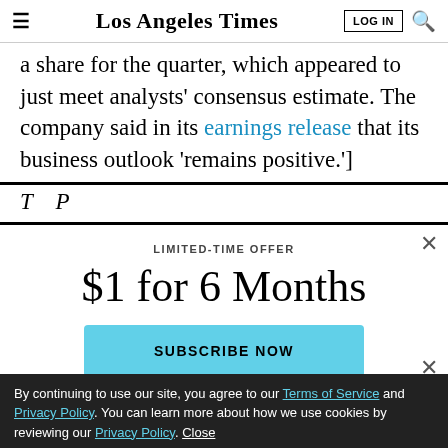Los Angeles Times | LOG IN
a share for the quarter, which appeared to just meet analysts’ consensus estimate. The company said in its earnings release that its business outlook ‘remains positive.’]
LIMITED-TIME OFFER
$1 for 6 Months
SUBSCRIBE NOW
By continuing to use our site, you agree to our Terms of Service and Privacy Policy. You can learn more about how we use cookies by reviewing our Privacy Policy. Close